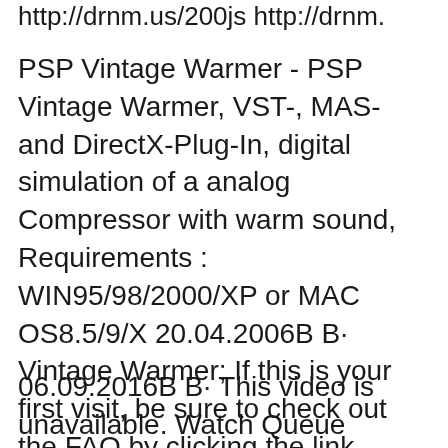http://drnm.us/200js http://drnm.
PSP Vintage Warmer - PSP Vintage Warmer, VST-, MAS- and DirectX-Plug-In, digital simulation of a analog Compressor with warm sound, Requirements : WIN95/98/2000/XP or MAC OS8.5/9/X 20.04.2006B B· Vintage Warmer; If this is your first visit, be sure to check out the FAQ by clicking the link above. You may have to register before you can post: click the register link above to proceed. To start viewing messages, select the forum that you want to visit from the selection below.
06.09.2016B B· This video is unavailable. Watch Queue Queue.